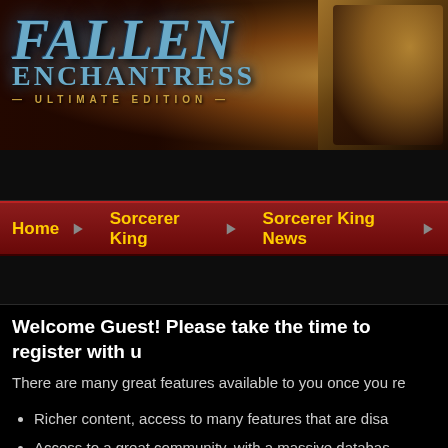[Figure (illustration): Fallen Enchantress: Ultimate Edition game banner with logo text in blue metallic style and fantasy character artwork on a dark brown/orange background]
Home | Sorcerer King | Sorcerer King News
Welcome Guest! Please take the time to register with u
There are many great features available to you once you re
Richer content, access to many features that are disa
Access to a great community, with a massive databas
Access to contests & subscription offers like exclusive
It's simple, and FREE!
Sign in or Create Account